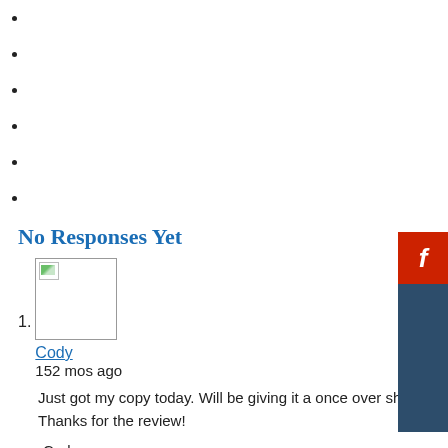No Responses Yet
[Figure (photo): User avatar placeholder image with broken image icon]
Cody
152 mos ago

Just got my copy today. Will be giving it a once over sho...
Thanks for the review!

-Cody
http://professionalvmware.com
Mobile Theme
All content Copyright Mark Vaughn's Weblog